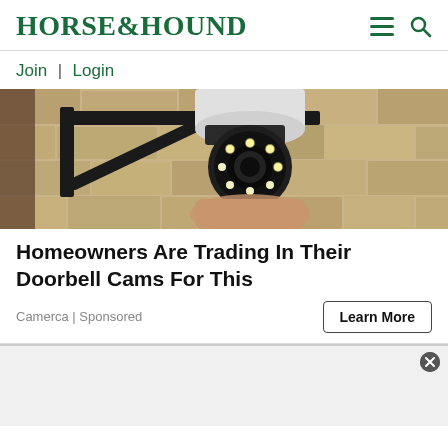HORSE&HOUND
Join | Login
[Figure (photo): Close-up photo of a security camera mounted on a wall bracket, with stone/brick wall background. Camera has visible LED lights around the lens.]
Homeowners Are Trading In Their Doorbell Cams For This
Camerca | Sponsored
Learn More